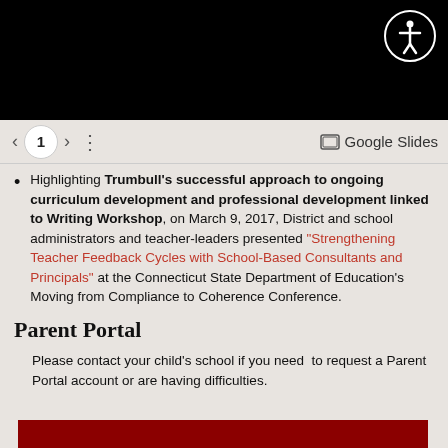[Figure (screenshot): Top black header bar of a website]
< 1 > ⋮  Google Slides
Highlighting Trumbull's successful approach to ongoing curriculum development and professional development linked to Writing Workshop, on March 9, 2017, District and school administrators and teacher-leaders presented "Strengthening Teacher Feedback Cycles with School-Based Consultants and Principals" at the Connecticut State Department of Education's Moving from Compliance to Coherence Conference.
Parent Portal
Please contact your child's school if you need  to request a Parent Portal account or are having difficulties.